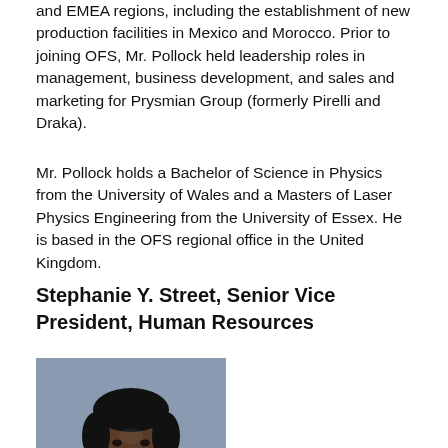and EMEA regions, including the establishment of new production facilities in Mexico and Morocco. Prior to joining OFS, Mr. Pollock held leadership roles in management, business development, and sales and marketing for Prysmian Group (formerly Pirelli and Draka).
Mr. Pollock holds a Bachelor of Science in Physics from the University of Wales and a Masters of Laser Physics Engineering from the University of Essex. He is based in the OFS regional office in the United Kingdom.
Stephanie Y. Street, Senior Vice President, Human Resources
[Figure (photo): Headshot photo of Stephanie Y. Street, a woman with short dark hair, wearing professional attire, photographed against a gray-blue background.]